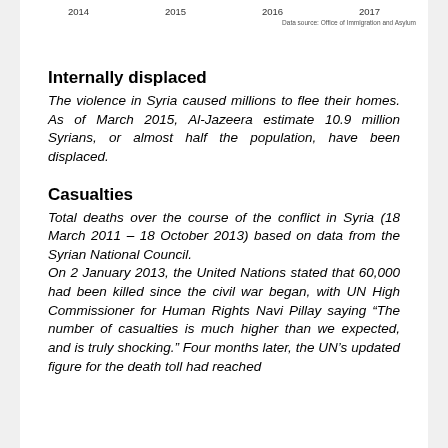2014   2015   2016   2017
Data source: Office of Immigration and Asylum
Internally displaced
The violence in Syria caused millions to flee their homes. As of March 2015, Al-Jazeera estimate 10.9 million Syrians, or almost half the population, have been displaced.
Casualties
Total deaths over the course of the conflict in Syria (18 March 2011 – 18 October 2013) based on data from the Syrian National Council.
On 2 January 2013, the United Nations stated that 60,000 had been killed since the civil war began, with UN High Commissioner for Human Rights Navi Pillay saying “The number of casualties is much higher than we expected, and is truly shocking.” Four months later, the UN’s updated figure for the death toll had reached